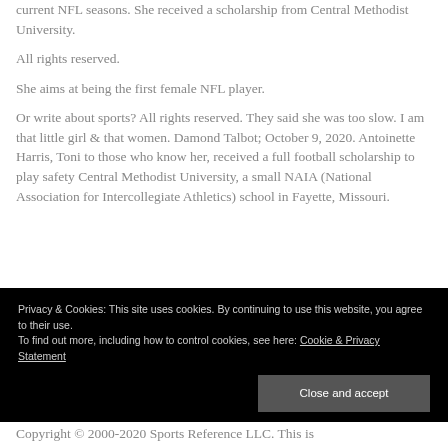current NFL seasons. She received a scholarship from Central Methodist University.
All rights reserved.
She aims at being the first female NFL player.
Or write about sports? All rights reserved. They said she was too slow. I am that little girl & that women. Damond Talbot; October 9, 2020. Antoinette Harris, Toni to those who know her, received a full football scholarship to play safety Central Methodist University, a small NAIA (National Association for Intercollegiate Athletics) school in Fayette, Missouri.
Privacy & Cookies: This site uses cookies. By continuing to use this website, you agree to their use.
To find out more, including how to control cookies, see here: Cookie & Privacy Statement
Copyright © 2000-2020 Sports Reference LLC. This is